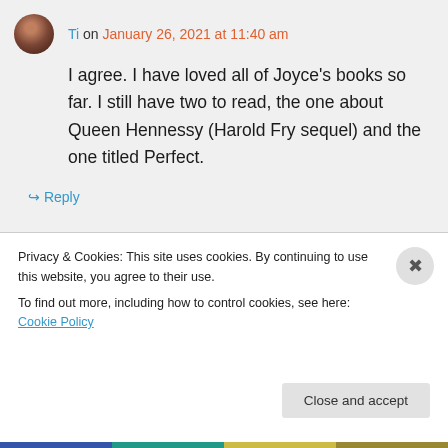Ti on January 26, 2021 at 11:40 am
I agree. I have loved all of Joyce's books so far. I still have two to read, the one about Queen Hennessy (Harold Fry sequel) and the one titled Perfect.
↳ Reply
Deb Nance at Readerbuzz on January 26, 2021 at 10:51 am
Privacy & Cookies: This site uses cookies. By continuing to use this website, you agree to their use.
To find out more, including how to control cookies, see here: Cookie Policy